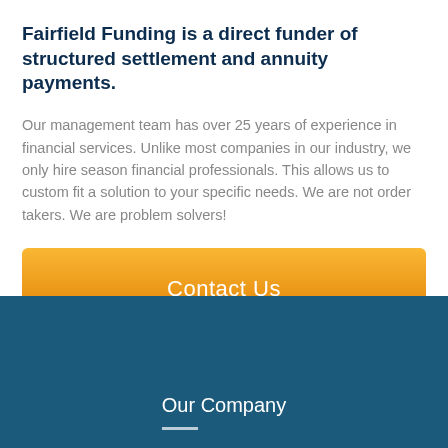Fairfield Funding is a direct funder of structured settlement and annuity payments.
Our management team has over 25 years of experience in financial services. Unlike most companies in our industry, we only hire season financial professionals. This allows us to custom fit a solution to your specific needs. We are not order takers. We are problem solvers!
[Figure (other): Orange gradient 'Contact Us' button]
Our Company